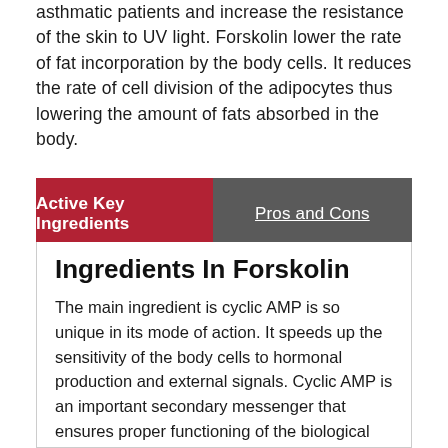asthmatic patients and increase the resistance of the skin to UV light. Forskolin lower the rate of fat incorporation by the body cells. It reduces the rate of cell division of the adipocytes thus lowering the amount of fats absorbed in the body.
| Active Key Ingredients | Pros and Cons |
| --- | --- |
Ingredients In Forskolin
The main ingredient is cyclic AMP is so unique in its mode of action. It speeds up the sensitivity of the body cells to hormonal production and external signals. Cyclic AMP is an important secondary messenger that ensures proper functioning of the biological systems.